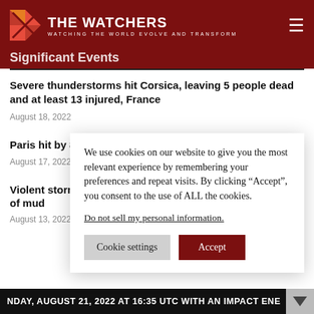THE WATCHERS — WATCHING THE WORLD EVOLVE AND TRANSFORM
Significant Events
Severe thunderstorms hit Corsica, leaving 5 people dead and at least 13 injured, France
August 18, 2022
Paris hit by 80% o
August 17, 2022
Violent storm hits
of mud
August 13, 2022
We use cookies on our website to give you the most relevant experience by remembering your preferences and repeat visits. By clicking “Accept”, you consent to the use of ALL the cookies.
Do not sell my personal information.
NDAY, AUGUST 21, 2022 AT 16:35 UTC WITH AN IMPACT ENE